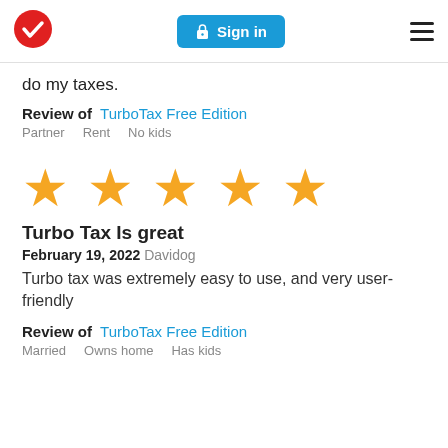TurboTax logo | Sign in | Menu
do my taxes.
Review of  TurboTax Free Edition
Partner    Rent    No kids
[Figure (other): Five gold stars rating]
Turbo Tax Is great
February 19, 2022  Davidog
Turbo tax was extremely easy to use, and very user-friendly
Review of  TurboTax Free Edition
Married    Owns home    Has kids